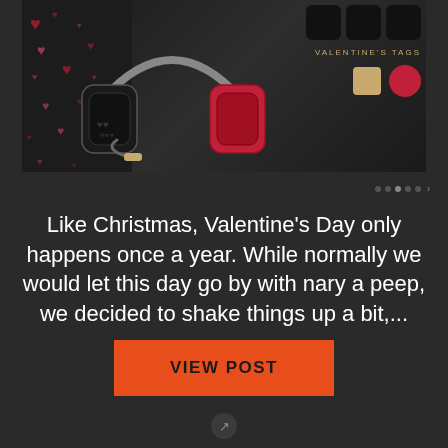[Figure (photo): Gaming headset product image on dark background with heart motifs on left side. Shows a black gaming headset with decorative heart engravings. Right side shows 'VALENTINE'S TAGS' accessories including three black square tag items and two charms (gold and red heart-shaped).]
Like Christmas, Valentine's Day only happens once a year. While normally we would let this day go by with nary a peep, we decided to shake things up a bit,...
VIEW POST